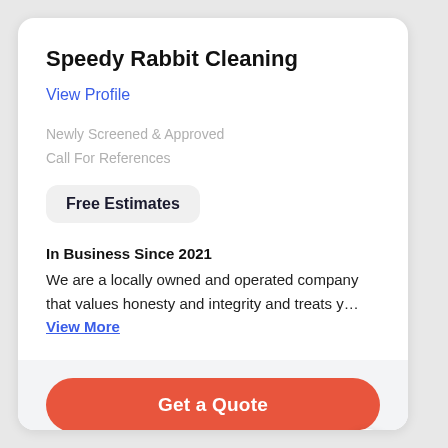Speedy Rabbit Cleaning
View Profile
Newly Screened & Approved
Call For References
Free Estimates
In Business Since 2021
We are a locally owned and operated company that values honesty and integrity and treats y… View More
Get a Quote
Call Business